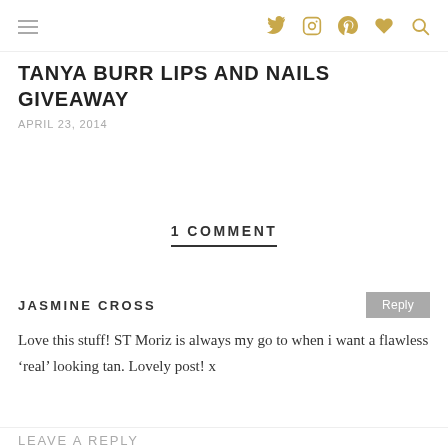Navigation header with hamburger menu and social icons (Twitter, Instagram, Pinterest, heart, search) in gold
TANYA BURR LIPS AND NAILS GIVEAWAY
APRIL 23, 2014
1 COMMENT
JASMINE CROSS
Love this stuff! ST Moriz is always my go to when i want a flawless ‘real’ looking tan. Lovely post! x
LEAVE A REPLY